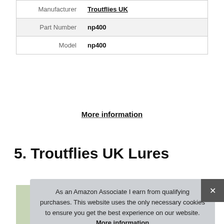| Manufacturer | Troutflies UK |
| Part Number | np400 |
| Model | np400 |
More information
5. Troutflies UK Lures
As an Amazon Associate I earn from qualifying purchases. This website uses the only necessary cookies to ensure you get the best experience on our website. More information